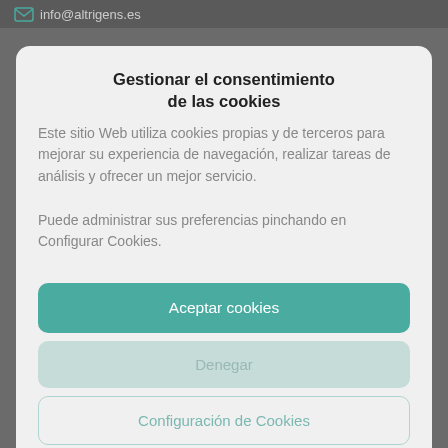info@altrigens.es
Gestionar el consentimiento de las cookies
Este sitio Web utiliza cookies propias y de terceros para mejorar su experiencia de navegación, realizar tareas de análisis y ofrecer un mejor servicio.
Puede administrar sus preferencias pinchando en Configurar Cookies.
Aceptar cookies
Denegar
Configuración de Cookies